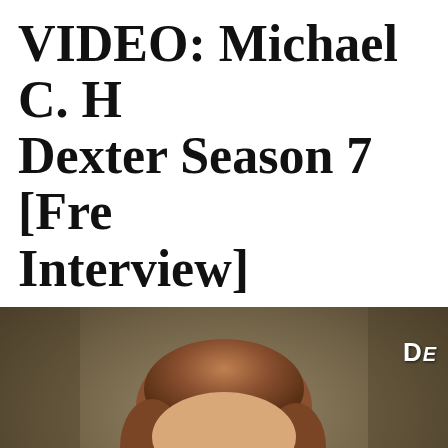VIDEO: Michael C. H... Dexter Season 7 [Fre... Interview]
[Figure (photo): A man (actor Michael C. Hall) with short reddish-brown hair, wearing a dark shirt, looking slightly downward. The background is a muted olive/brown tone. In the upper right corner there is a partial white text logo reading 'D' (partial DEXTER logo).]